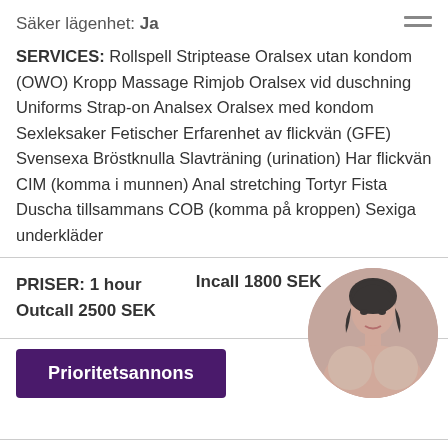Säker lägenhet: Ja
SERVICES: Rollspell Striptease Oralsex utan kondom (OWO) Kropp Massage Rimjob Oralsex vid duschning Uniforms Strap-on Analsex Oralsex med kondom Sexleksaker Fetischer Erfarenhet av flickvän (GFE) Svensexa Bröstknulla Slavträning (urination) Har flickvän CIM (komma i munnen) Anal stretching Tortyr Fista Duscha tillsammans COB (komma på kroppen) Sexiga underkläder
PRISER: 1 hour  Incall 1800 SEK
Outcall 2500 SEK
[Figure (photo): Circular cropped photo of a woman]
Prioritetsannons